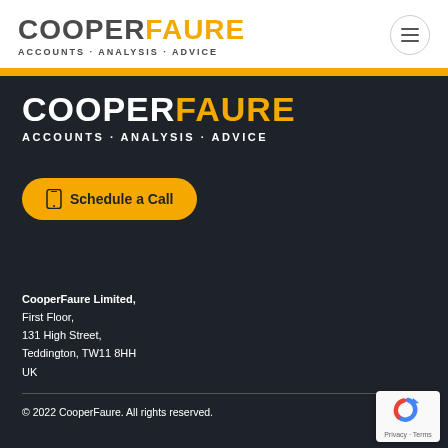COOPERFAURE ACCOUNTS · ANALYSIS · ADVICE
[Figure (logo): CooperFaure logo in dark section: COOPER in white bold, FAURE in orange bold, tagline ACCOUNTS · ANALYSIS · ADVICE in white]
[Figure (other): Schedule a Call button with phone icon, orange rounded pill shape]
CooperFaure Limited, First Floor, 131 High Street, Teddington, TW11 8HH UK
© 2022 CooperFaure. All rights reserved.